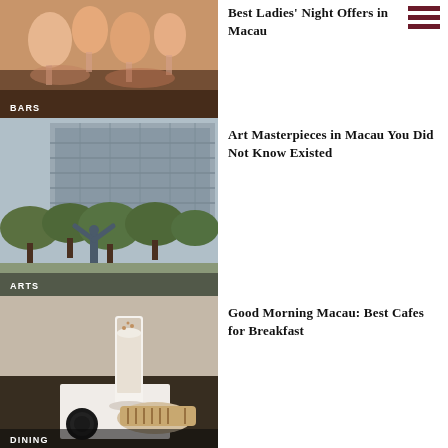[Figure (photo): People clinking cocktail glasses, bar scene with pink drinks]
BARS
Best Ladies' Night Offers in Macau
[Figure (photo): Art sculpture of a figure with trees and modern building in Macau]
ARTS
Art Masterpieces in Macau You Did Not Know Existed
[Figure (photo): Cafe breakfast scene with tall latte glass and grilled sandwich on dark table]
DINING
Good Morning Macau: Best Cafes for Breakfast